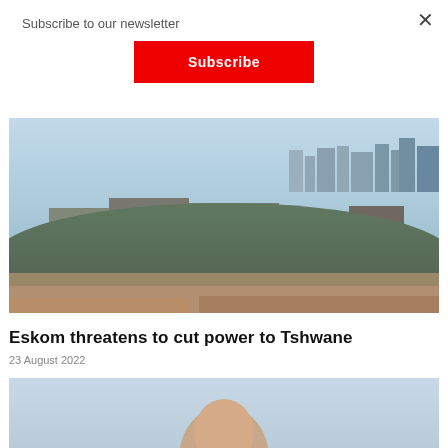Subscribe to our newsletter
Subscribe
[Figure (photo): Aerial cityscape of Tshwane/Pretoria showing government buildings, urban skyline with high-rise buildings in the background, and dry brush in the foreground]
Eskom threatens to cut power to Tshwane
23 August 2022
[Figure (photo): Partial photo of a person, cropped at the top of the frame]